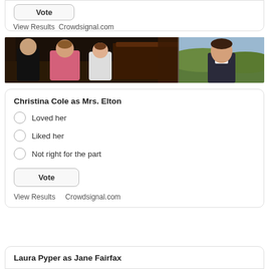[Figure (screenshot): Top portion of a poll widget box showing a Vote button and 'View Results  Crowdsignal.com' link at bottom]
View Results   Crowdsignal.com
[Figure (photo): Two film stills side by side: left shows three people in period costume indoors near a piano; right shows a young man in period clothing outdoors.]
[Figure (screenshot): Poll widget: 'Christina Cole as Mrs. Elton' with radio options: Loved her, Liked her, Not right for the part; Vote button; View Results Crowdsignal.com]
Christina Cole as Mrs. Elton
Loved her
Liked her
Not right for the part
View Results   Crowdsignal.com
[Figure (screenshot): Bottom of page shows start of another poll: 'Laura Pyper as Jane Fairfax']